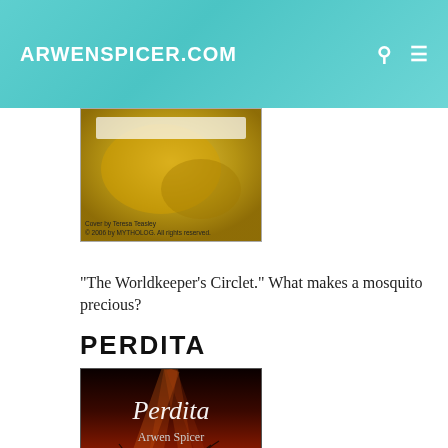ARWENSPICER.COM
[Figure (photo): Book cover image with amber/golden tones showing cover art with text 'Cover by Teresa Teasley' and '© 2006 by MYTHOLOG. All rights reserved.']
“The Worldkeeper’s Circlet.” What makes a mosquito precious?
PERDITA
[Figure (photo): Book cover for 'Perdita' by Arwen Spicer, showing dark red and amber tones with a tree silhouette and dramatic lighting rays.]